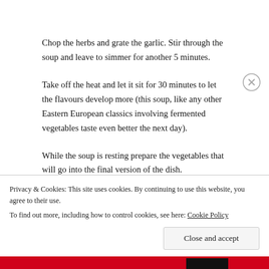Chop the herbs and grate the garlic. Stir through the soup and leave to simmer for another 5 minutes.
Take off the heat and let it sit for 30 minutes to let the flavours develop more (this soup, like any other Eastern European classics involving fermented vegetables taste even better the next day).
While the soup is resting prepare the vegetables that will go into the final version of the dish.
Beetroots:
Privacy & Cookies: This site uses cookies. By continuing to use this website, you agree to their use.
To find out more, including how to control cookies, see here: Cookie Policy
Close and accept